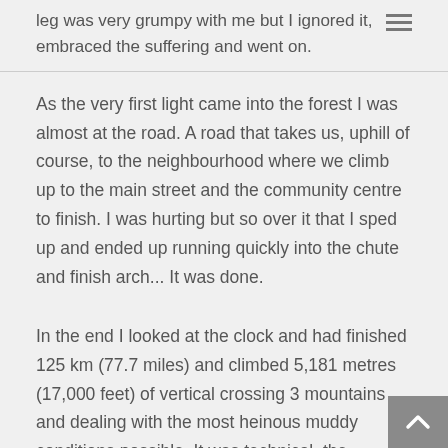leg was very grumpy with me but I ignored it, embraced the suffering and went on.
As the very first light came into the forest I was almost at the road. A road that takes us, uphill of course, to the neighbourhood where we climb up to the main street and the community centre to finish. I was hurting but so over it that I sped up and ended up running quickly into the chute and finish arch... It was done.
In the end I looked at the clock and had finished 125 km (77.7 miles) and climbed 5,181 metres (17,000 feet) of vertical crossing 3 mountains and dealing with the most heinous muddy conditions possible. It was technical, the weather varied considerably and it was every bit as trying as a similar 100 mile